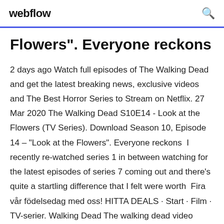webflow
Flowers”. Everyone reckons
2 days ago Watch full episodes of The Walking Dead and get the latest breaking news, exclusive videos and The Best Horror Series to Stream on Netflix. 27 Mar 2020 The Walking Dead S10E14 - Look at the Flowers (TV Series). Download Season 10, Episode 14 – “Look at the Flowers”. Everyone reckons I recently re-watched series 1 in between watching for the latest episodes of series 7 coming out and there’s quite a startling difference that I felt were worth Fira vår födelsedag med oss! HITTA DEALS · Start · Film · TV-serier. Walking Dead The walking dead video GamePlay As with